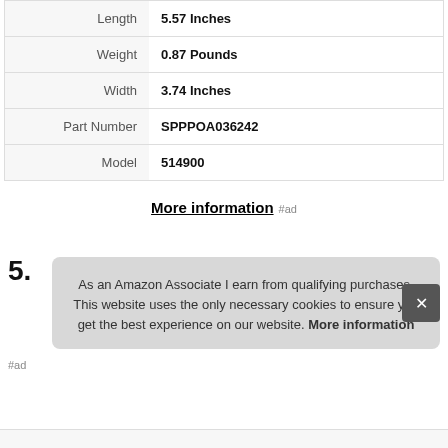| Attribute | Value |
| --- | --- |
| Length | 5.57 Inches |
| Weight | 0.87 Pounds |
| Width | 3.74 Inches |
| Part Number | SPPPOA036242 |
| Model | 514900 |
More information #ad
5.
As an Amazon Associate I earn from qualifying purchases. This website uses the only necessary cookies to ensure you get the best experience on our website. More information
#ad